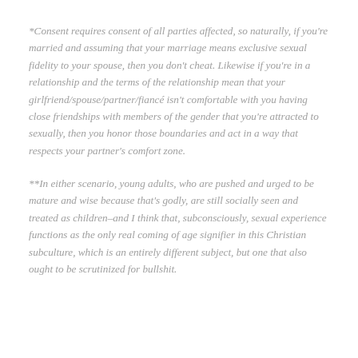*Consent requires consent of all parties affected, so naturally, if you're married and assuming that your marriage means exclusive sexual fidelity to your spouse, then you don't cheat. Likewise if you're in a relationship and the terms of the relationship mean that your girlfriend/spouse/partner/fiancé isn't comfortable with you having close friendships with members of the gender that you're attracted to sexually, then you honor those boundaries and act in a way that respects your partner's comfort zone.
**In either scenario, young adults, who are pushed and urged to be mature and wise because that's godly, are still socially seen and treated as children–and I think that, subconsciously, sexual experience functions as the only real coming of age signifier in this Christian subculture, which is an entirely different subject, but one that also ought to be scrutinized for bullshit.